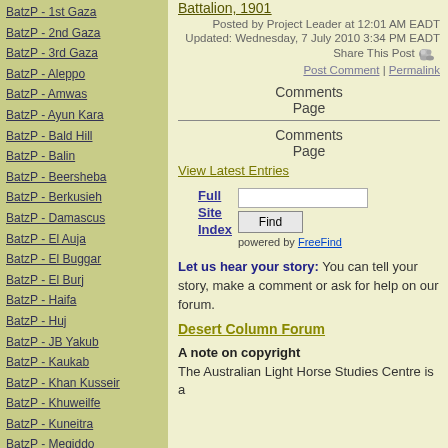BatzP - 1st Gaza
BatzP - 2nd Gaza
BatzP - 3rd Gaza
BatzP - Aleppo
BatzP - Amwas
BatzP - Ayun Kara
BatzP - Bald Hill
BatzP - Balin
BatzP - Beersheba
BatzP - Berkusieh
BatzP - Damascus
BatzP - El Auja
BatzP - El Buggar
BatzP - El Burj
BatzP - Haifa
BatzP - Huj
BatzP - JB Yakub
BatzP - Kaukab
BatzP - Khan Kusseir
BatzP - Khuweilfe
BatzP - Kuneitra
BatzP - Megiddo
BatzP - Nablus
BatzP - Rafa
BatzP - Sasa
BatzP - Semakh
BatzP - Sheria
BatzP - Surafend
Battalion, 1901
Posted by Project Leader at 12:01 AM EADT
Updated: Wednesday, 7 July 2010 3:34 PM EADT
Share This Post
Post Comment | Permalink
Comments
Page
Comments
Page
View Latest Entries
Full Site Index
powered by FreeFind
Let us hear your story: You can tell your story, make a comment or ask for help on our forum.
Desert Column Forum
A note on copyright
The Australian Light Horse Studies Centre is a